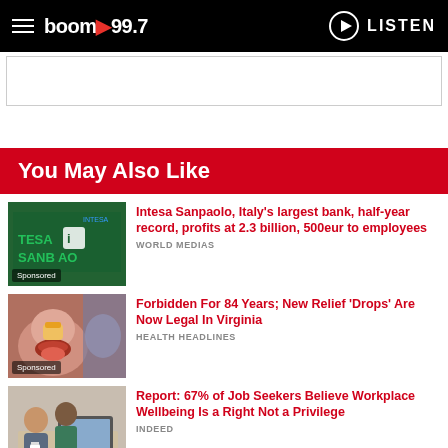boom 99.7 — LISTEN
[Figure (other): Advertisement placeholder box]
You May Also Like
[Figure (photo): Intesa Sanpaolo bank sign photo with Sponsored tag]
Intesa Sanpaolo, Italy's largest bank, half-year record, profits at 2.3 billion, 500eur to employees
WORLD MEDIAS
[Figure (photo): Person eating food, mouth open, with Sponsored tag]
Forbidden For 84 Years; New Relief 'Drops' Are Now Legal In Virginia
HEALTH HEADLINES
[Figure (photo): People working at a laptop in an office, with Sponsored tag]
Report: 67% of Job Seekers Believe Workplace Wellbeing Is a Right Not a Privilege
INDEED